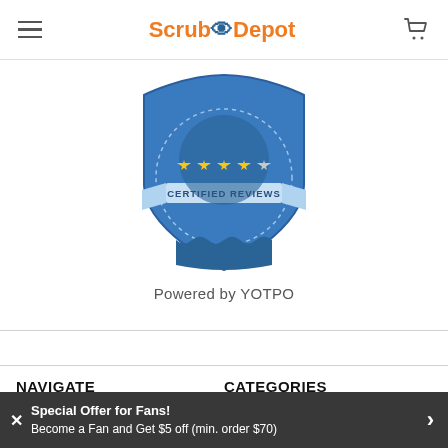Scrub Depot — navigation header with hamburger menu and cart icon
[Figure (logo): Certified Reviews badge with 4.5 gold stars on a blue shield/medallion shape, text 'CERTIFIED REVIEWS']
Powered by YOTPO
NAVIGATE
CATEGORIES
contact-check
Contact Us
COVID 19 Essentials
Temp Products
Lab Coats
Special Offer for Fans! Become a Fan and Get $5 off (min. order $70)